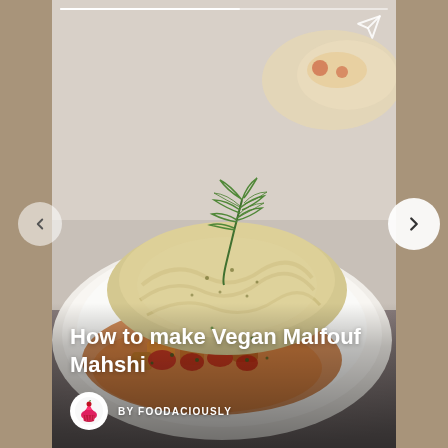[Figure (photo): A plate of Vegan Malfouf Mahshi — stuffed cabbage rolls garnished with fresh dill, served on a white plate with chunky tomato sauce and vegetable pieces, photographed on a light grey background with a second dish visible in the upper right.]
How to make Vegan Malfouf Mahshi
BY FOODACIOUSLY